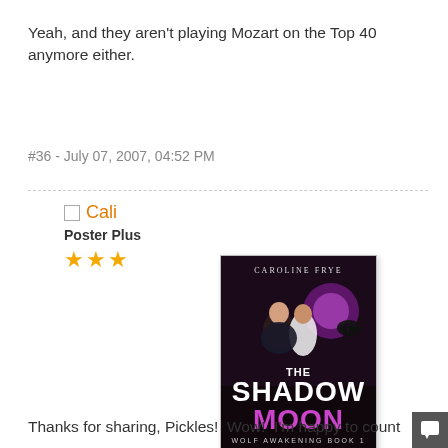Yeah, and they aren't playing Mozart on the Top 40 anymore either.
#36 - July 07, 2007, 04:52 PM
Cali
Poster Plus
[Figure (illustration): Book cover for 'The Shadow Moon - Wolf Awakening Book 1' by Caroline Frye. Dark background with two people and a wolf silhouette under a purple moon.]
Thanks for sharing, Pickles!  Wow!  I'm happy to count